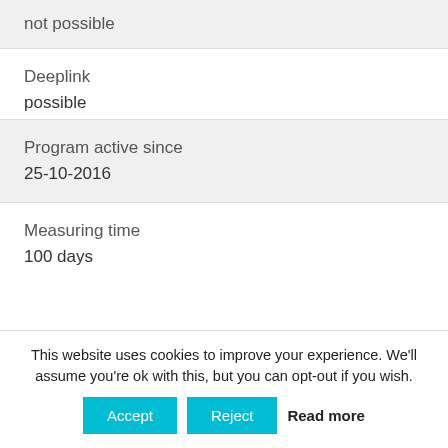not possible
Deeplink
possible
Program active since
25-10-2016
Measuring time
100 days
This website uses cookies to improve your experience. We'll assume you're ok with this, but you can opt-out if you wish.